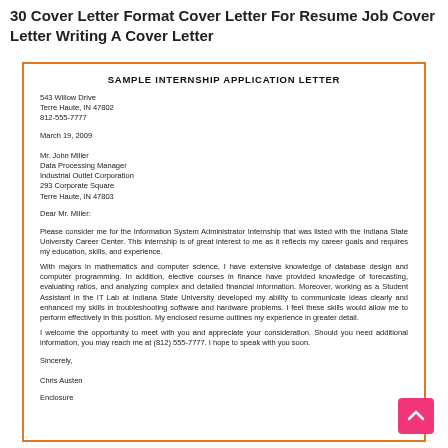30 Cover Letter Format Cover Letter For Resume Job Cover Letter Writing A Cover Letter
Sample Internship Application Letter
543 Willow Drive
Terre Haute, IN 47802
812-555-7777
March 19, 2009
Mr. John Miller
Data Processing Manager
Industrial Outlet Corporation
293 Corporate Square
Terre Haute, IN 47803
Dear Mr. Miller:
Please consider me for the Information System Administrator Internship that was listed with the Indiana State University Career Center.  This internship is of great interest to me as it reflects my career goals and requires my education, skills, and experience.
With majors in mathematics and computer science, I have extensive knowledge of database design and computer programming.  In addition, elective courses in finance have provided knowledge of forecasting, evaluating ratios, and analyzing complex and detailed financial information.  Moreover, working as a Student Assistant in the IT Lab at Indiana State University developed my ability to communicate ideas clearly and enhanced my skills in troubleshooting software and hardware problems.  I feel these skills would allow me to perform effectively in this position.  My enclosed resume outlines my experience in greater detail.
I welcome the opportunity to meet with you and appreciate your consideration.  Should you need additional information, you may reach me at (812) 555-7777.  I hope to speak with you soon.
Sincerely,
Chris Austen
Enclosure